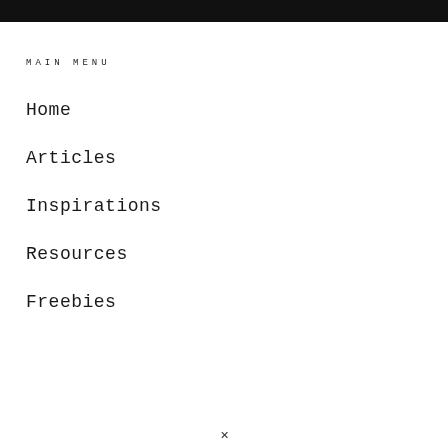MAIN MENU
Home
Articles
Inspirations
Resources
Freebies